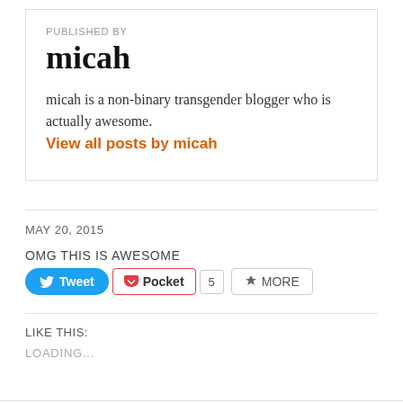PUBLISHED BY
micah
micah is a non-binary transgender blogger who is actually awesome.
View all posts by micah
MAY 20, 2015
OMG THIS IS AWESOME
[Figure (screenshot): Social share buttons: Tweet (Twitter), Pocket with count 5, More]
LIKE THIS:
LOADING...